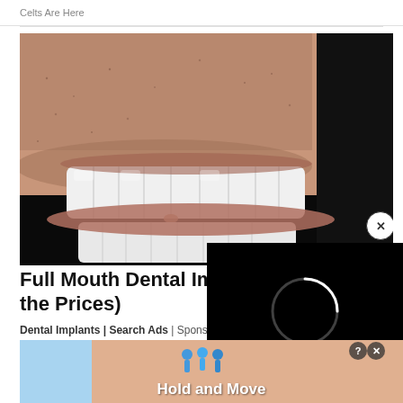Celts Are Here
[Figure (photo): Close-up photo of a person's mouth showing white dental implant teeth with stubble around the lips, partially overlaid by a black video loading overlay]
Full Mouth Dental Impl... the Prices)
Dental Implants | Search Ads | Sponsored
[Figure (screenshot): Black video player overlay showing a spinning/loading circle and a close/dismiss button]
[Figure (screenshot): Bottom advertisement banner with blue side panel, cartoon figures, Hold and Move text, and help/close buttons]